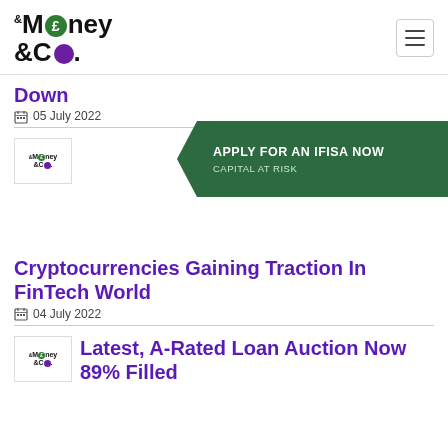Money & Co. (logo) | hamburger menu
Down
05 July 2022
[Figure (logo): Money & Co. small logo thumbnail]
[Figure (infographic): APPLY FOR AN IFISA NOW — CAPITAL AT RISK green banner with chevron shape]
Cryptocurrencies Gaining Traction In FinTech World
04 July 2022
[Figure (logo): Money & Co. small logo thumbnail]
Latest, A-Rated Loan Auction Now 89% Filled